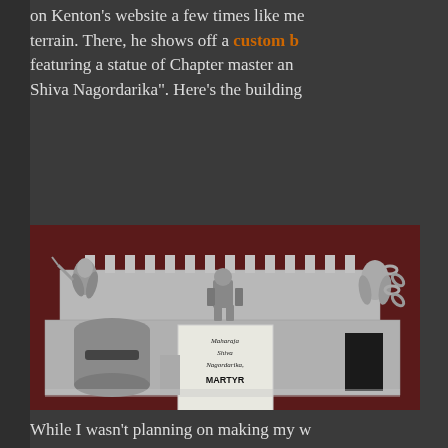on Kenton's website a few times like me terrain. There, he shows off a custom b featuring a statue of Chapter master an Shiva Nagordarika". Here's the building
[Figure (photo): A miniature wargaming diorama showing a grey custom-built building/terrain piece with battlements/crenellations along the top edge. Various miniature figures are positioned on and around the structure. A cylindrical grey object sits at the front-left. A white plaque reads 'Maharaja Shiva Nagordarika MARTYR'. A dark rectangular block sits at the right side. The background is dark red/maroon.]
While I wasn't planning on making my w Nagordarika at first, I started experimen because I had fun with the conversion, off, I had to gather some source materi